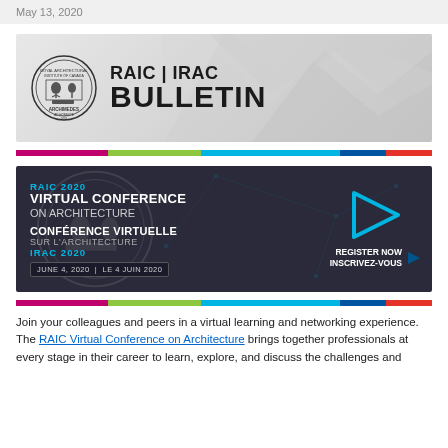May 13, 2020
[Figure (logo): RAIC | IRAC BULLETIN banner header with circular crest logo and geometric polygon background]
[Figure (infographic): RAIC 2020 Virtual Conference on Architecture / IRAC 2020 Conférence Virtuelle Sur L'Architecture banner, June 4, 2020 / Le 4 Juin 2020, Register Now / Inscrivez-Vous, with blue play/arrow triangle graphic]
Join your colleagues and peers in a virtual learning and networking experience. The RAIC Virtual Conference on Architecture brings together professionals at every stage in their career to learn, explore, and discuss the challenges and